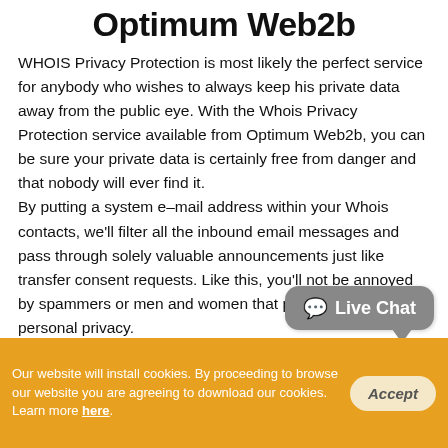Optimum Web2b
WHOIS Privacy Protection is most likely the perfect service for anybody who wishes to always keep his private data away from the public eye. With the Whois Privacy Protection service available from Optimum Web2b, you can be sure your private data is certainly free from danger and that nobody will ever find it.
By putting a system e–mail address within your Whois contacts, we'll filter all the inbound email messages and pass through solely valuable announcements just like transfer consent requests. Like this, you'll not be annoyed by spammers or men and women that plan to infringe your personal privacy.
Live Chat
Our website will install cookies. By proceeding to browse our website you are agreeing to download our cookies. Learn more here. Accept